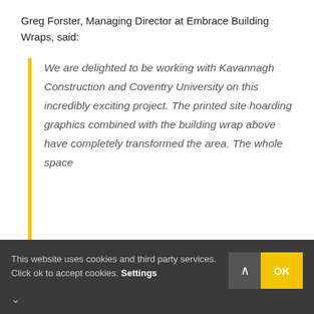Greg Forster, Managing Director at Embrace Building Wraps, said:
We are delighted to be working with Kavannagh Construction and Coventry University on this incredibly exciting project. The printed site hoarding graphics combined with the building wrap above have completely transformed the area. The whole space
This website uses cookies and third party services. Click ok to accept cookies. Settings